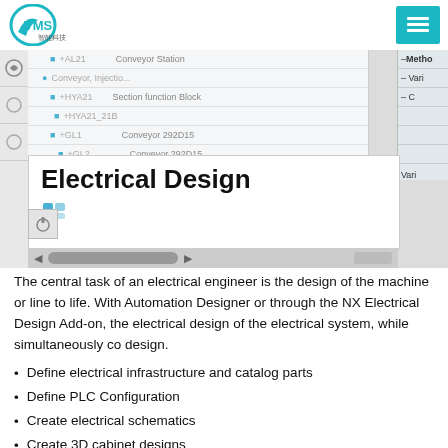VMS 智能科技 logo and navigation menu
[Figure (screenshot): Software UI screenshot showing a tree/list panel with items including +GL3 / Conveyor 292D15 row highlighted, and an inset white panel containing the title 'Electrical Design'. The screenshot shows a software interface resembling an automation/NX design tool.]
Electrical Design
The central task of an electrical engineer is the design of the machine or line to life. With Automation Designer or through the NX Electrical Design Add-on, the electrical design of the electrical system, while simultaneously co design.
Define electrical infrastructure and catalog parts
Define PLC Configuration
Create electrical schematics
Create 3D cabinet designs
Create manufacturing documents